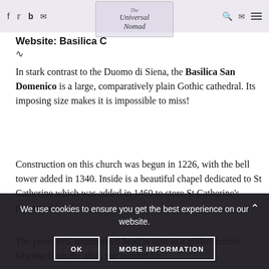Navigation bar with social icons (f, Twitter, b, email), The Universal Nomad logo, search, email, and hamburger menu icons
Website: Basilica C...
In stark contrast to the Duomo di Siena, the Basilica San Domenico is a large, comparatively plain Gothic cathedral. Its imposing size makes it is impossible to miss!
Construction on this church was begun in 1226, with the bell tower added in 1340. Inside is a beautiful chapel dedicated to St Catherine which was added in 1460 to store St Catherine's preserved head.
The preserved, mummified head is kept in a gilded marble tabernacle on the altar, surrounded by...
We use cookies to ensure you get the best experience on our website.